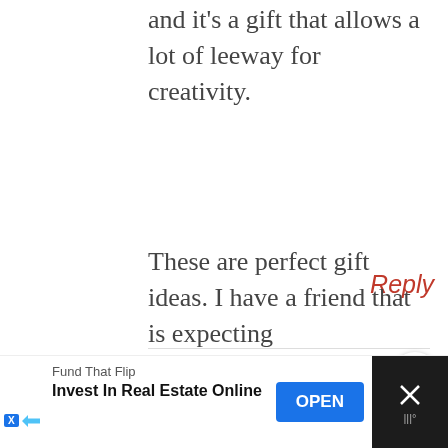and it's a gift that allows a lot of leeway for creativity.
Reply
PAULA SCHUCK
FEBRUARY 5, 2016 AT 2:20 PM
These are perfect gift ideas. I have a friend that is expecting
[Figure (other): Advertisement bar: Fund That Flip - Invest In Real Estate Online, with OPEN button and close X button]
[Figure (other): Share icon button (circle with share symbol)]